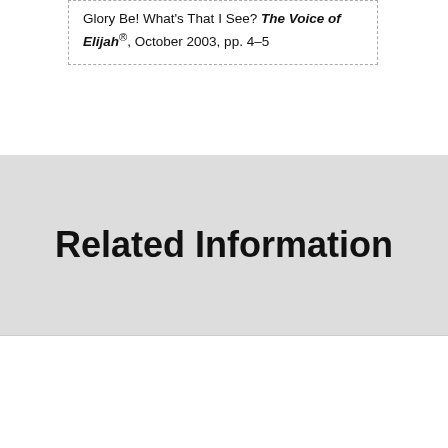Glory Be! What's That I See? The Voice of Elijah®, October 2003, pp. 4–5
Related Information
[Figure (illustration): Cover thumbnail of 'The Voice of Elijah' newsletter, July 2000, with decorative tree/eagle masthead, subtitle 'Restoring the hearts of the fathers to the children', and article text below.]